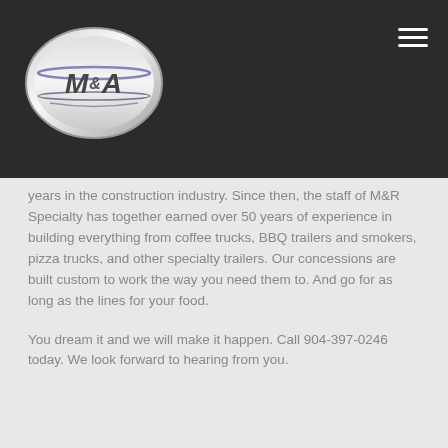[Figure (logo): M&R Specialty logo: oval silver/chrome badge with stylized M&R lettering and racing stripes on dark background]
years in the construction industry. Since then, the staff of M&R Specialty has together earned over 50 years of experience in building everything from coffee trucks, BBQ trailers and smokers, pizza trucks, and other specialty trailers. Our concessions are built custom to work the way you need them to. And go for as long as the lines for your food.
You dream it and we will make it happen. Call 904-397-0246 today. We look forward to hearing from you.